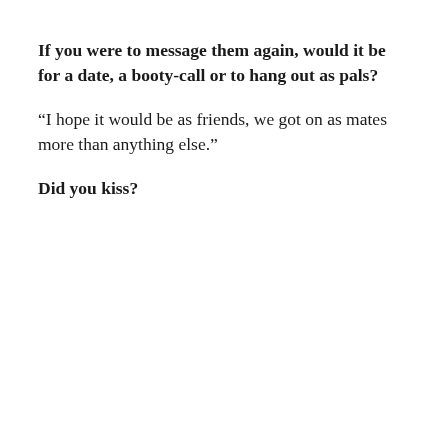If you were to message them again, would it be for a date, a booty-call or to hang out as pals?
“I hope it would be as friends, we got on as mates more than anything else.”
Did you kiss?